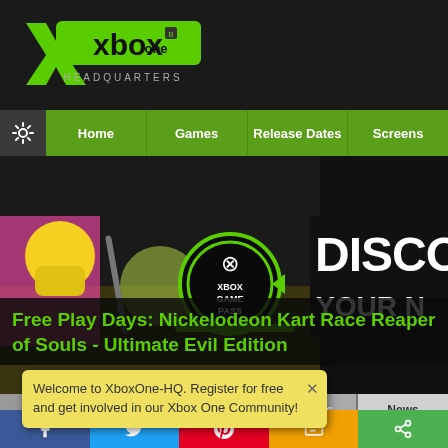[Figure (logo): Xbox One Headquarters green logo with X mark and text]
Home | Games | Release Dates | Screens
[Figure (screenshot): Xbox Game Pass banner with Nickelodeon Kart Racers characters and DISCO YOUR N text]
Free Play Days: Nickelodeon Kart Racers & Diablo III: Reaper of Souls - Ultimate Evil Edition
Achievements
News
Welcome to XboxOne-HQ. Register for free and get involved in our Xbox One Community!